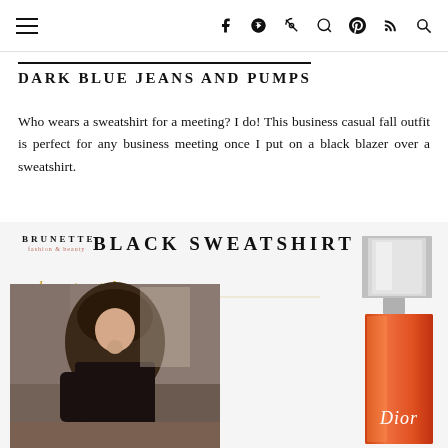≡  f  ⊕  )))  🔍
DARK BLUE JEANS AND PUMPS
Who wears a sweatshirt for a meeting? I do! This business casual fall outfit is perfect for any business meeting once I put on a black blazer over a sweatshirt.
[Figure (photo): Blog graphic showing 'BRUNETTE – BLACK SWEATSHIRT – how to style' title overlay with a woman in a black blazer sitting casually, alongside a Dior orange nail polish bottle]